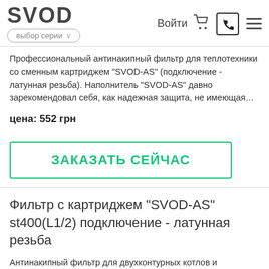SVOD | выбор серии | Войти
Профессиональный антинакипный фильтр для теплотехники со сменным картриджем "SVOD-AS" (подключение - латунная резьба). Наполнитель "SVOD-AS" давно зарекомендовал себя, как надежная защита, не имеющая…
цена: 552 грн
ЗАКАЗАТЬ СЕЙЧАС
Фильтр с картриджем "SVOD-AS" st400(L1/2) подключение - латунная резьба
Антинакипный фильтр для двухконтурных котлов и водонагревательной техники со сменным картриджем "SVOD-